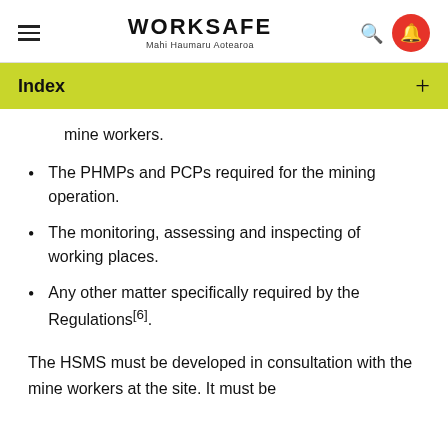WORKSAFE Mahi Haumaru Aotearoa
Index
mine workers.
The PHMPs and PCPs required for the mining operation.
The monitoring, assessing and inspecting of working places.
Any other matter specifically required by the Regulations[6].
The HSMS must be developed in consultation with the mine workers at the site. It must be